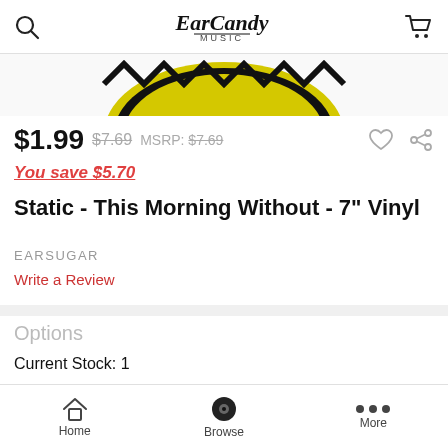Ear Candy Music
[Figure (photo): Partial view of vinyl record product image, showing yellow and black pattern at bottom edge]
$1.99  $7.69  MSRP: $7.69
You save $5.70
Static - This Morning Without - 7" Vinyl
EARSUGAR
Write a Review
Options
Current Stock: 1
ADD TO CART
BUY NOW
Home  Browse  More